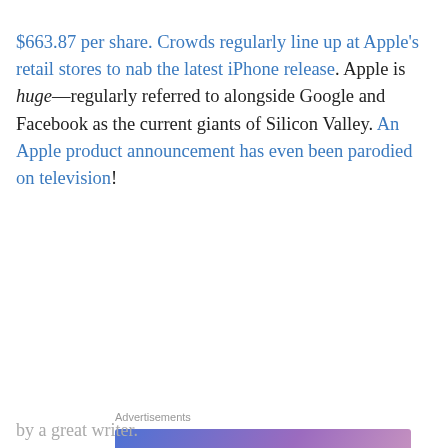$663.87 per share. Crowds regularly line up at Apple's retail stores to nab the latest iPhone release. Apple is huge—regularly referred to alongside Google and Facebook as the current giants of Silicon Valley. An Apple product announcement has even been parodied on television!
[Figure (other): WordPress.com advertisement banner: 'Simplified pricing for everything you need.' with WordPress logo on gradient blue-purple background]
As an Apple devotee since the early 90s, I naturally
Privacy & Cookies: This site uses cookies. By continuing to use this website, you agree to their use.
To find out more, including how to control cookies, see here: Cookie Policy
by a great writer.